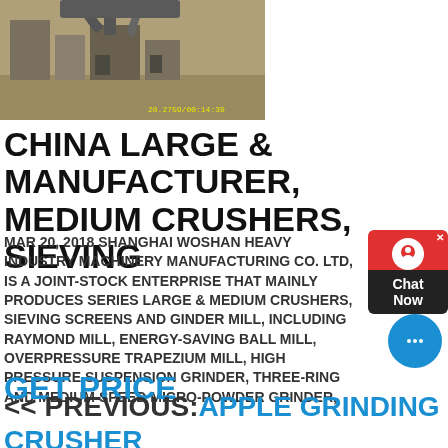[Figure (photo): Industrial machinery/crusher facility photo with timestamp 20.2759/00:14:39]
CHINA LARGE & MANUFACTURER, MEDIUM CRUSHERS, SIEVING
MAR 20, 2018 SHANGHAI WOSHAN HEAVY INDUSTRY MACHINERY MANUFACTURING CO. LTD, IS A JOINT-STOCK ENTERPRISE THAT MAINLY PRODUCES SERIES LARGE & MEDIUM CRUSHERS, SIEVING SCREENS AND GINDER MILL, INCLUDING RAYMOND MILL, ENERGY-SAVING BALL MILL, OVERPRESSURE TRAPEZIUM MILL, HIGH PRESSURE SUSPENSION GRINDER, THREE-RING AND MEDIUM SPEED MICRO-POWDER GRINDER,
GET PRICE
<< PREVIOUS:APPLE GRINDING CRUSHER